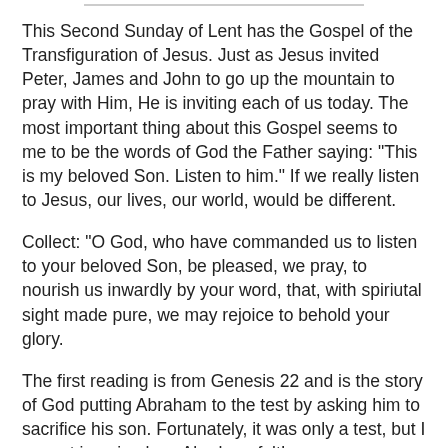This Second Sunday of Lent has the Gospel of the Transfiguration of Jesus. Just as Jesus invited Peter, James and John to go up the mountain to pray with Him, He is inviting each of us today. The most important thing about this Gospel seems to me to be the words of God the Father saying: "This is my beloved Son. Listen to him." If we really listen to Jesus, our lives, our world, would be different.
Collect: "O God, who have commanded us to listen to your beloved Son, be pleased, we pray, to nourish us inwardly by your word, that, with spiriutal sight made pure, we may rejoice to behold your glory.
The first reading is from Genesis 22 and is the story of God putting Abraham to the test by asking him to sacrifice his son. Fortunately, it was only a test, but I cannot imagine how Abraham felt!
The Responsorial Psalm is "I will walk before the Lord, in the land of the living."